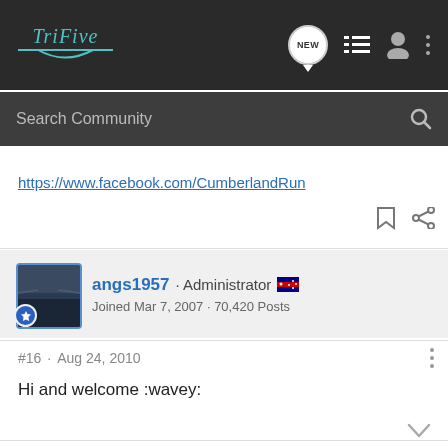TriFive — navigation bar with NEW, list, user, and menu icons
Search Community
https://www.facebook.com/CumberlandRun
angs1957 · Administrator
Joined Mar 7, 2007 · 70,420 Posts
#16 · Aug 24, 2010
Hi and welcome :wavey: